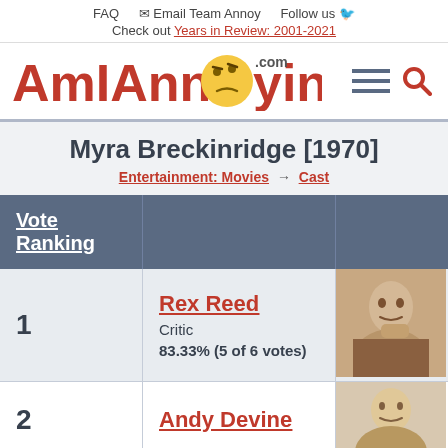FAQ  Email Team Annoy  Follow us
Check out Years in Review: 2001-2021
[Figure (logo): AmIAnnoying.com logo with an emoji face in the middle of the word, plus hamburger menu and search icons]
Myra Breckinridge [1970]
Entertainment: Movies → Cast
| Vote Ranking |  |  |
| --- | --- | --- |
| 1 | Rex Reed
Critic
83.33% (5 of 6 votes) | [photo] |
| 2 | Andy Devine | [photo] |